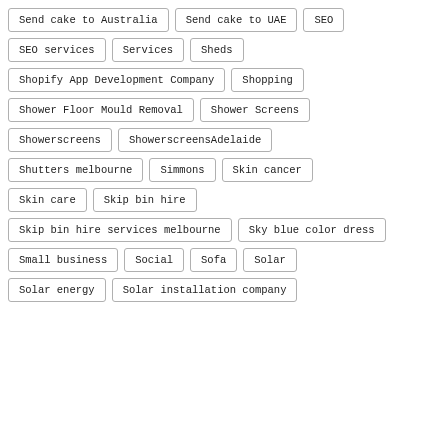Send cake to Australia
Send cake to UAE
SEO
SEO services
Services
Sheds
Shopify App Development Company
Shopping
Shower Floor Mould Removal
Shower Screens
Showerscreens
ShowerscreensAdelaide
Shutters melbourne
Simmons
Skin cancer
Skin care
Skip bin hire
Skip bin hire services melbourne
Sky blue color dress
Small business
Social
Sofa
Solar
Solar energy
Solar installation company